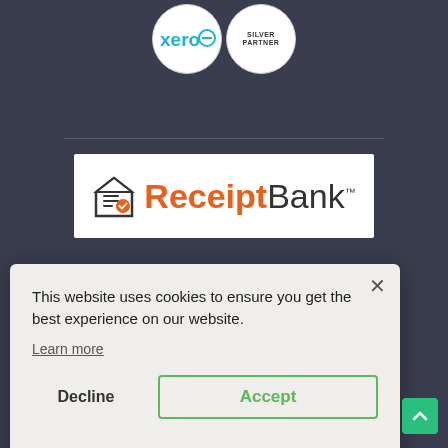[Figure (logo): Xero Silver Partner logo badges — two circular white badges, one with Xero logo and one with 'SILVER PARTNER' text]
[Figure (logo): ReceiptBank logo on white background — house/receipt icon on left, 'Receipt' in orange bold and 'Bank' in dark text, with TM superscript]
[Figure (screenshot): Partial blue banner visible behind modal]
This website uses cookies to ensure you get the best experience on our website.
Learn more
Decline
Accept